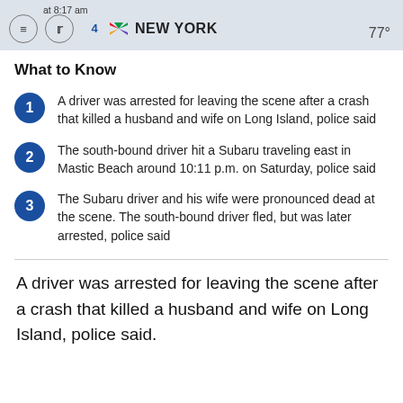at 8:17 am  NBC 4 NEW YORK  77°
What to Know
A driver was arrested for leaving the scene after a crash that killed a husband and wife on Long Island, police said
The south-bound driver hit a Subaru traveling east in Mastic Beach around 10:11 p.m. on Saturday, police said
The Subaru driver and his wife were pronounced dead at the scene. The south-bound driver fled, but was later arrested, police said
A driver was arrested for leaving the scene after a crash that killed a husband and wife on Long Island, police said.